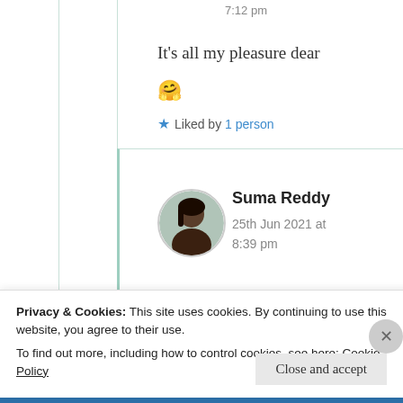7:12 pm
It’s all my pleasure dear 🤗
★ Liked by 1 person
Suma Reddy
25th Jun 2021 at
8:39 pm
Privacy & Cookies: This site uses cookies. By continuing to use this website, you agree to their use.
To find out more, including how to control cookies, see here: Cookie Policy
Close and accept